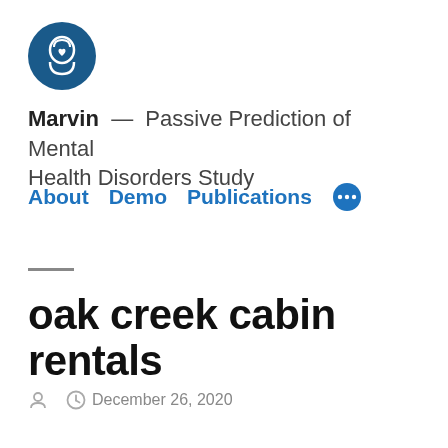[Figure (logo): Dark blue circle with a white head silhouette containing a heart icon, representing the Marvin mental health study logo]
Marvin — Passive Prediction of Mental Health Disorders Study
About   Demo   Publications  •••
oak creek cabin rentals
December 26, 2020